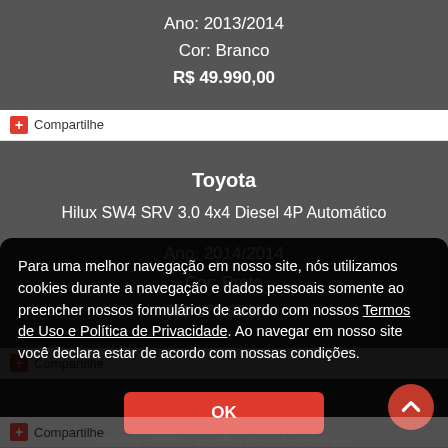Ano: 2013/2014
Cor: Branco
R$ 49.990,00
Compartilhe
Toyota
Hilux SW4 SRV 3.0 4x4 Diesel 4P Automático
Ano: 2014/2014
Cor: Preto
R$ 177.990,00
Compartilhe
VolksWagen
Para uma melhor navegação em nosso site, nós utilizamos cookies durante a navegação e dados pessoais somente ao preencher nossos formulários de acordo com nossos Termos de Uso e Política de Privacidade. Ao navegar em nosso site você declara estar de acordo com nossas condições.
OK
Compartilhe